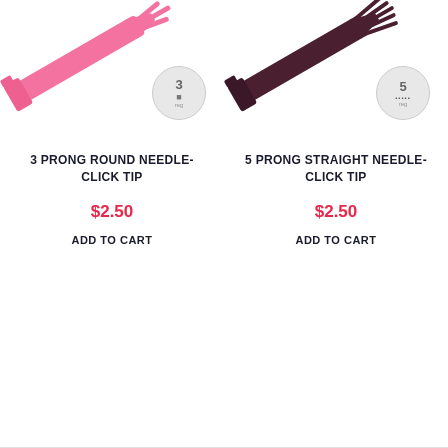[Figure (photo): Pink 3-prong round needle with click tip, shown diagonally with a round badge showing number 3 and a round icon, labeled 'reg']
3 PRONG ROUND NEEDLE- CLICK TIP
$2.50
ADD TO CART
[Figure (photo): Brown/dark 5-prong straight needle with click tip, shown diagonally with a round badge showing number 5 and dots icon, labeled 'reg']
5 PRONG STRAIGHT NEEDLE- CLICK TIP
$2.50
ADD TO CART